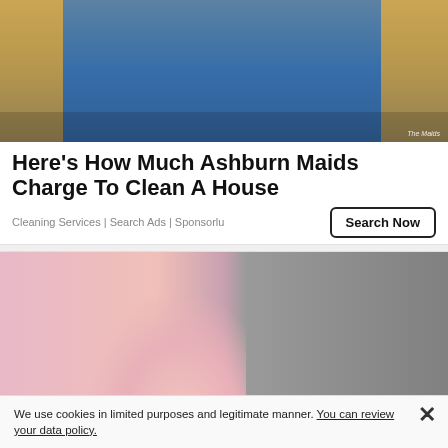[Figure (photo): Four women in cleaning service uniforms (blue and yellow polo shirts) standing in front of a house entrance, holding cleaning supplies and buckets labeled 'The Maids']
Here's How Much Ashburn Maids Charge To Clean A House
Cleaning Services | Search Ads | Sponsorlu
[Figure (photo): Close-up photo of a woman in a pink shirt with her hand placed on her chest, against a gray background]
We use cookies in limited purposes and legitimate manner. You can review your data policy.